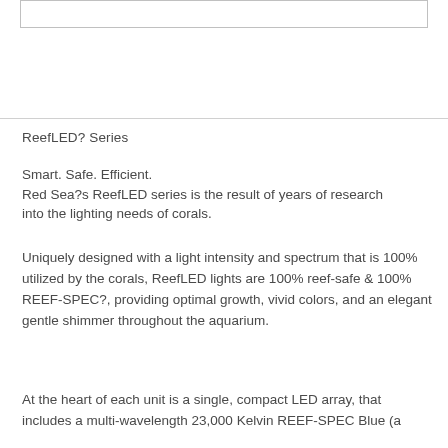[Figure (other): Empty bordered image/content box at the top of the page]
ReefLED? Series
Smart. Safe. Efficient.
Red Sea?s ReefLED series is the result of years of research into the lighting needs of corals.
Uniquely designed with a light intensity and spectrum that is 100% utilized by the corals, ReefLED lights are 100% reef-safe & 100% REEF-SPEC?, providing optimal growth, vivid colors, and an elegant gentle shimmer throughout the aquarium.
At the heart of each unit is a single, compact LED array, that includes a multi-wavelength 23,000 Kelvin REEF-SPEC Blue (a